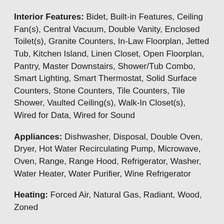Interior Features: Bidet, Built-in Features, Ceiling Fan(s), Central Vacuum, Double Vanity, Enclosed Toilet(s), Granite Counters, In-Law Floorplan, Jetted Tub, Kitchen Island, Linen Closet, Open Floorplan, Pantry, Master Downstairs, Shower/Tub Combo, Smart Lighting, Smart Thermostat, Solid Surface Counters, Stone Counters, Tile Counters, Tile Shower, Vaulted Ceiling(s), Walk-In Closet(s), Wired for Data, Wired for Sound
Appliances: Dishwasher, Disposal, Double Oven, Dryer, Hot Water Recirculating Pump, Microwave, Oven, Range, Range Hood, Refrigerator, Washer, Water Heater, Water Purifier, Wine Refrigerator
Heating: Forced Air, Natural Gas, Radiant, Wood, Zoned
Cooling: Central Air, Heat Pump, Other, Whole House Fan, Zoned